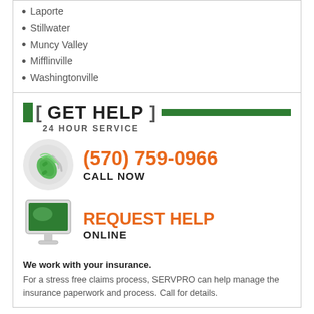Laporte
Stillwater
Muncy Valley
Mifflinville
Washingtonville
[ GET HELP ] 24 HOUR SERVICE
(570) 759-0966 CALL NOW
REQUEST HELP ONLINE
We work with your insurance.
For a stress free claims process, SERVPRO can help manage the insurance paperwork and process. Call for details.